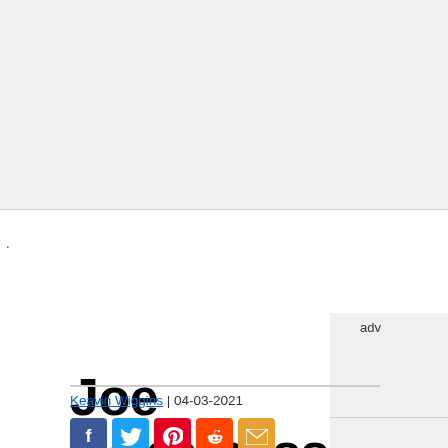.
Joe Bonamassa Talks William Shatner With Ben Folds
Keavin Wiggins | 04-03-2021
[Figure (infographic): Social share icons: Facebook, Twitter, Pinterest, Reddit, Email]